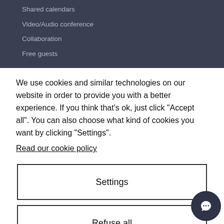Shared calendars
Video/Audio conference
Collaboration
Free guests
We use cookies and similar technologies on our website in order to provide you with a better experience. If you think that's ok, just click "Accept all". You can also choose what kind of cookies you want by clicking "Settings".
Read our cookie policy
Settings
Refuse all
Accept all